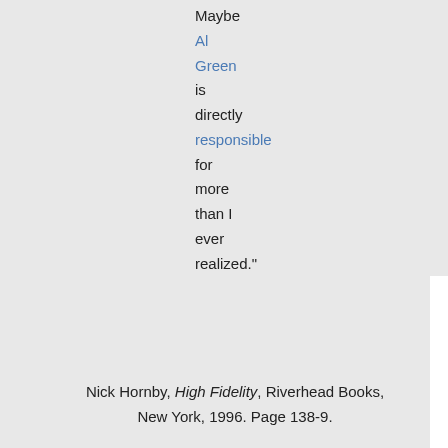Maybe Al Green is directly responsible for more than I ever realized."
Nick Hornby, High Fidelity, Riverhead Books, New York, 1996. Page 138-9.
If you liked the movie, go get the book. It's fun. And British. Everybody loves British slang.
[Figure (other): Social sharing icons bar with Twitter, Facebook, Delicious, Technorati, StumbleUpon, Reddit icons and 'I like it!' text]